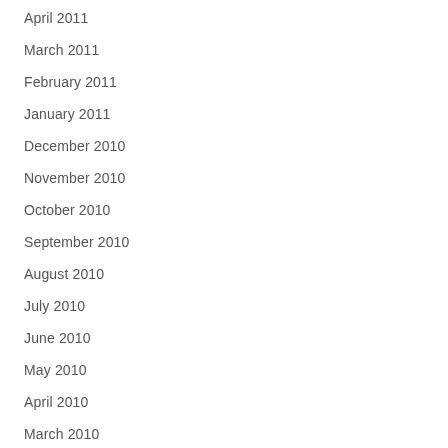April 2011
March 2011
February 2011
January 2011
December 2010
November 2010
October 2010
September 2010
August 2010
July 2010
June 2010
May 2010
April 2010
March 2010
February 2010
January 2010
December 2009
November 2009